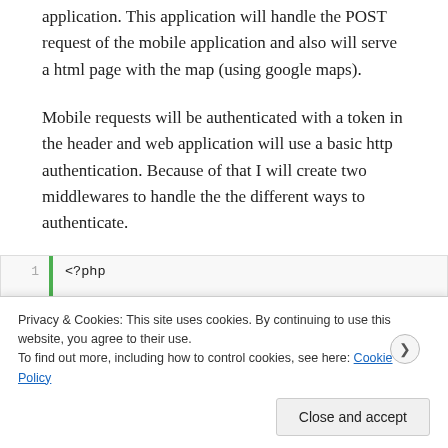application. This application will handle the POST request of the mobile application and also will serve a html page with the map (using google maps).
Mobile requests will be authenticated with a token in the header and web application will use a basic http authentication. Because of that I will create two middlewares to handle the the different ways to authenticate.
[Figure (screenshot): Code block showing PHP code: line 1: <?php, line 2: require __DIR__ . '/../vendor/auto...]
Privacy & Cookies: This site uses cookies. By continuing to use this website, you agree to their use.
To find out more, including how to control cookies, see here: Cookie Policy
[Close and accept button]